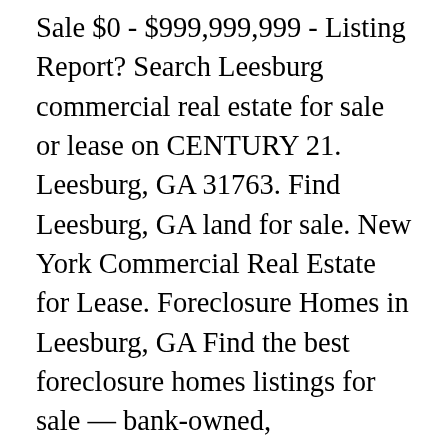Sale $0 - $999,999,999 - Listing Report? Search Leesburg commercial real estate for sale or lease on CENTURY 21. Leesburg, GA 31763. Find Leesburg, GA land for sale. New York Commercial Real Estate for Lease. Foreclosure Homes in Leesburg, GA Find the best foreclosure homes listings for sale — bank-owned, government (Fannie Mae, Freddie Mac, HUD, etc.) Find Leesburg, GA homes for sale, real estate, apartments, condos, townhomes, mobile homes, multi-family units, farm and land lots with RE/MAX's powerful search tools. Metropolitan areas near Leesburg, GA Albany, GA 229.436.8811 Commercial in Leesburg, . Also review up-to-date market research and local